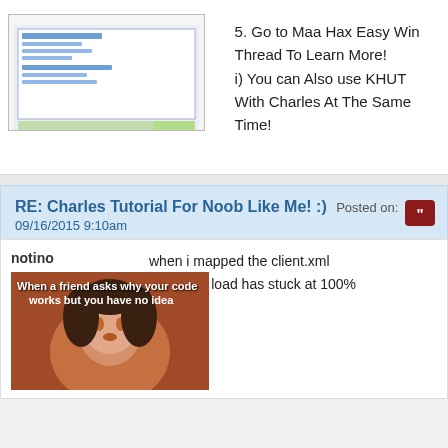[Figure (screenshot): Screenshot of a software interface, partially visible at the top right]
5. Go to Maa Hax Easy Win Thread To Learn More!
i) You can Also use KHUT With Charles At The Same Time!
RE: Charles Tutorial For Noob Like Me! :) Posted on: 09/16/2015 9:10am
notino
[Figure (photo): Meme image: When a friend asks why your code works but you have no idea]
when i mapped the client.xml
the game load has stuck at 100%